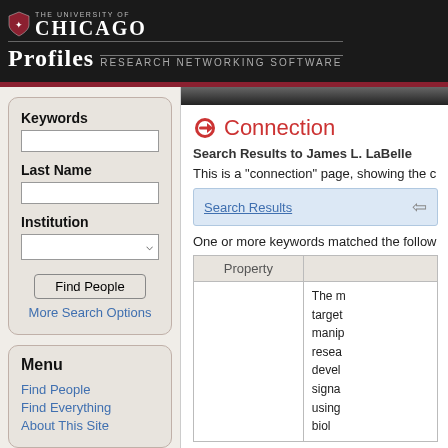THE UNIVERSITY OF CHICAGO — PROFILES Research Networking Software
Connection
Search Results to James L. LaBelle
This is a "connection" page, showing the c
Search Results →
One or more keywords matched the follo
| Property |  |
| --- | --- |
|  | The m target manip resea devel signa using biol |
Keywords
Last Name
Institution
Find People
More Search Options
Menu
Find People
Find Everything
About This Site